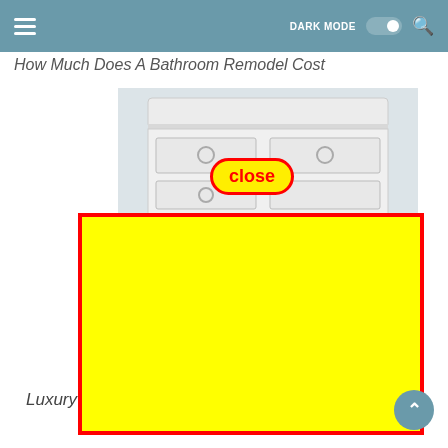DARK MODE [toggle] [search]
How Much Does A Bathroom Remodel Cost
[Figure (photo): A white bathroom vanity/dresser with drawers and round handles, shown in a muted grey-blue color palette, partially obscured by a yellow advertisement overlay.]
[Figure (illustration): A yellow rectangle with a thick red border representing an advertisement overlay. A red-outlined 'close' button with bold red text on yellow background is positioned at the top-right area of the image.]
Luxury